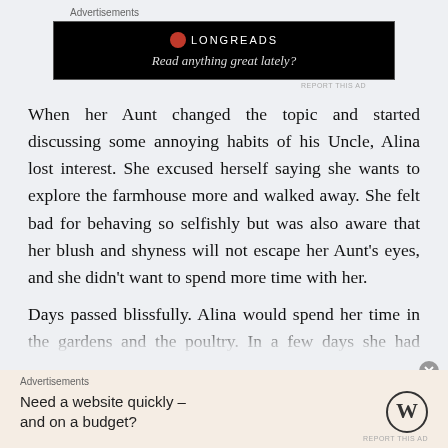Advertisements
[Figure (screenshot): Black advertisement banner for Longreads with red circle logo and text 'Read anything great lately?']
When her Aunt changed the topic and started discussing some annoying habits of his Uncle, Alina lost interest. She excused herself saying she wants to explore the farmhouse more and walked away. She felt bad for behaving so selfishly but was also aware that her blush and shyness will not escape her Aunt's eyes, and she didn't want to spend more time with her.
Days passed blissfully. Alina would spend her time in the gardens and the poultry. In a few days she had become...
Advertisements
[Figure (screenshot): WordPress advertisement: 'Need a website quickly – and on a budget?' with WordPress logo]